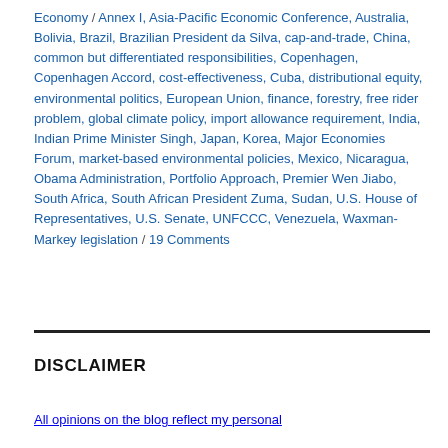Economy / Annex I, Asia-Pacific Economic Conference, Australia, Bolivia, Brazil, Brazilian President da Silva, cap-and-trade, China, common but differentiated responsibilities, Copenhagen, Copenhagen Accord, cost-effectiveness, Cuba, distributional equity, environmental politics, European Union, finance, forestry, free rider problem, global climate policy, import allowance requirement, India, Indian Prime Minister Singh, Japan, Korea, Major Economies Forum, market-based environmental policies, Mexico, Nicaragua, Obama Administration, Portfolio Approach, Premier Wen Jiabo, South Africa, South African President Zuma, Sudan, U.S. House of Representatives, U.S. Senate, UNFCCC, Venezuela, Waxman-Markey legislation / 19 Comments
DISCLAIMER
All opinions on the blog reflect my personal